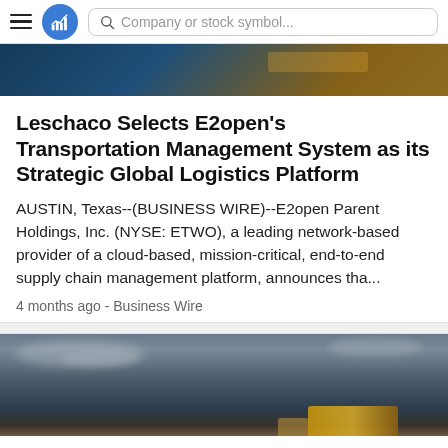Company or stock symbol...
[Figure (photo): Dark teal and wood-toned background image strip at top of article]
Leschaco Selects E2open's Transportation Management System as its Strategic Global Logistics Platform
AUSTIN, Texas--(BUSINESS WIRE)--E2open Parent Holdings, Inc. (NYSE: ETWO), a leading network-based provider of a cloud-based, mission-critical, end-to-end supply chain management platform, announces tha...
4 months ago - Business Wire
[Figure (photo): Truck on highway under dramatic cloudy sky, bottom of page]